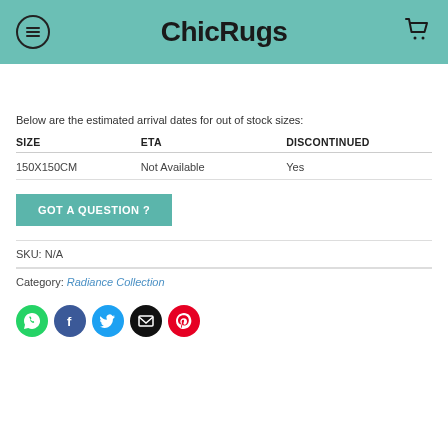ChicRugs
Below are the estimated arrival dates for out of stock sizes:
| SIZE | ETA | DISCONTINUED |
| --- | --- | --- |
| 150X150CM | Not Available | Yes |
GOT A QUESTION ?
SKU: N/A
Category: Radiance Collection